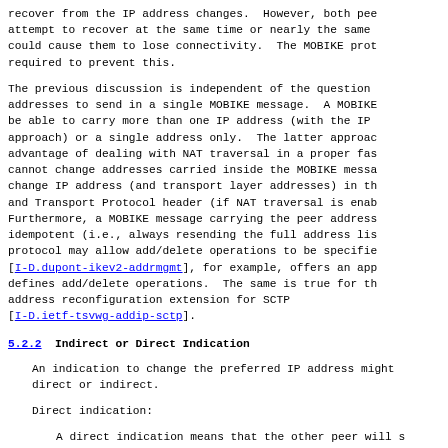recover from the IP address changes.  However, both pee attempt to recover at the same time or nearly the same could cause them to lose connectivity.  The MOBIKE prot required to prevent this.
The previous discussion is independent of the question addresses to send in a single MOBIKE message.  A MOBIKE be able to carry more than one IP address (with the IP approach) or a single address only.  The latter approac advantage of dealing with NAT traversal in a proper fas cannot change addresses carried inside the MOBIKE messa change IP address (and transport layer addresses) in th and Transport Protocol header (if NAT traversal is enab Furthermore, a MOBIKE message carrying the peer address idempotent (i.e., always resending the full address lis protocol may allow add/delete operations to be specifie [I-D.dupont-ikev2-addrmgmt], for example, offers an app defines add/delete operations.  The same is true for th address reconfiguration extension for SCTP [I-D.ietf-tsvwg-addip-sctp].
5.2.2  Indirect or Direct Indication
An indication to change the preferred IP address might direct or indirect.
Direct indication:
A direct indication means that the other peer will s with the address change.  Such a message can, for ex